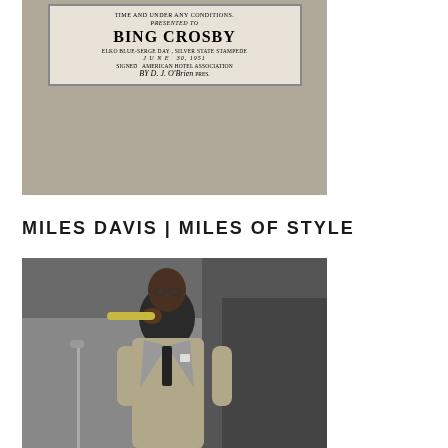[Figure (photo): Black and white photo of a fabric or denim textile with an embroidered or stamped certificate label reading: TIME AND UNDER ANY CONDITIONS. PRESENTED TO BING CROSBY. ELKO BLUE-SERGE DAY, SILVER STATE STAMPEDE. JUNE 30, 1951. SIGNED AMERICAN HOTEL ASSOCIATION BY D.J. O'Brien, PRES.]
MILES DAVIS | MILES OF STYLE
[Figure (photo): Black and white photograph of Miles Davis standing at a microphone stand, wearing a light-colored pinstripe suit with a pocket square, playing or holding a trumpet near his face.]